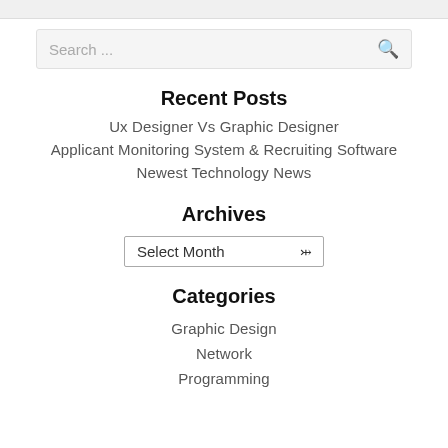[Figure (screenshot): Search bar with placeholder text 'Search ...' and a search icon on the right]
Recent Posts
Ux Designer Vs Graphic Designer
Applicant Monitoring System & Recruiting Software
Newest Technology News
Archives
[Figure (screenshot): Dropdown select box with 'Select Month' placeholder and chevron arrow]
Categories
Graphic Design
Network
Programming